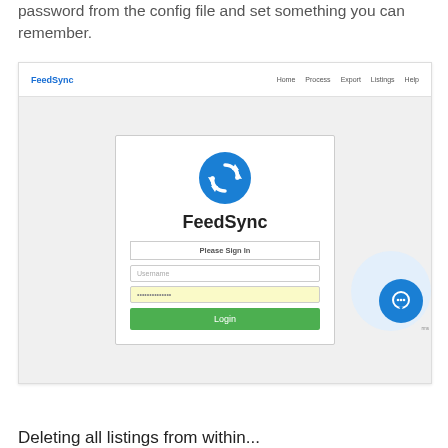password from the config file and set something you can remember.
[Figure (screenshot): FeedSync web application login page screenshot showing a navigation bar with FeedSync logo and links (Home, Process, Export, Listings, Help), a centered login card with a blue sync icon, 'FeedSync' title, 'Please Sign In' header, username input field, password field (filled with dots, yellow background), and a green Login button.]
Deleting all listings from within...